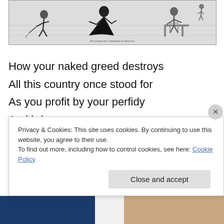[Figure (illustration): Black and white vintage cartoon/illustration showing figures in motion, appears to be from an old publication. A person on the left, figures in center, and a seated person on the right at a table.]
How your naked greed destroys
All this country once stood for
As you profit by your perfidy
And brim...
Privacy & Cookies: This site uses cookies. By continuing to use this website, you agree to their use.
To find out more, including how to control cookies, see here: Cookie Policy
Close and accept